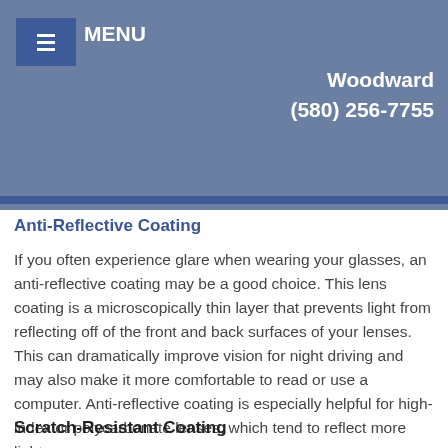MENU   Woodward (580) 256-7755
Anti-Reflective Coating
If you often experience glare when wearing your glasses, an anti-reflective coating may be a good choice. This lens coating is a microscopically thin layer that prevents light from reflecting off of the front and back surfaces of your lenses. This can dramatically improve vision for night driving and may also make it more comfortable to read or use a computer. Anti-reflective coating is especially helpful for high-index or polycarbonate lenses, which tend to reflect more light.
Scratch-Resistant Coating